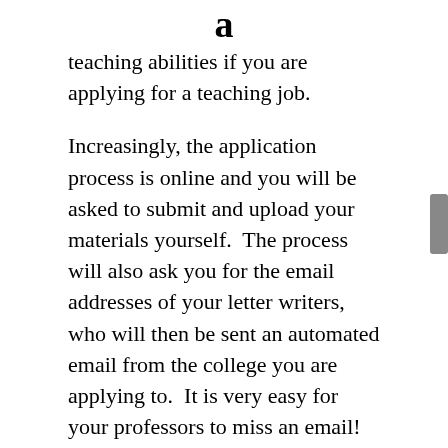a
teaching abilities if you are applying for a teaching job.
Increasingly, the application process is online and you will be asked to submit and upload your materials yourself.  The process will also ask you for the email addresses of your letter writers, who will then be sent an automated email from the college you are applying to.  It is very easy for your professors to miss an email!  Your diligence will help this process.
One final note:  if your CV changes (that solo-authored dissertation chapter gets published or R&R'd at a major journal), I think it is fine to send an